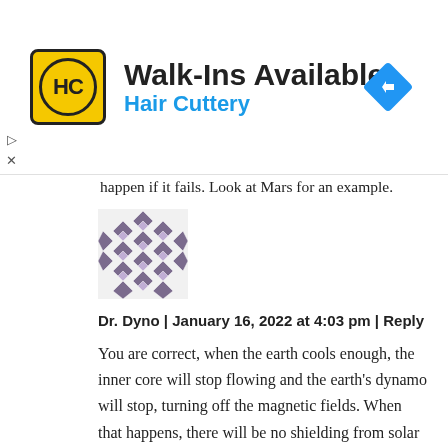[Figure (infographic): Hair Cuttery advertisement banner with HC logo, text 'Walk-Ins Available' and 'Hair Cuttery', and a blue navigation diamond icon]
happen if it fails. Look at Mars for an example.
[Figure (illustration): Abstract geometric avatar with purple/grey diamond and triangle pattern mosaic]
Dr. Dyno | January 16, 2022 at 4:03 pm | Reply
You are correct, when the earth cools enough, the inner core will stop flowing and the earth's dynamo will stop, turning off the magnetic fields. When that happens, there will be no shielding from solar radiation and life will probably not survive. Fortunately, this won't happen